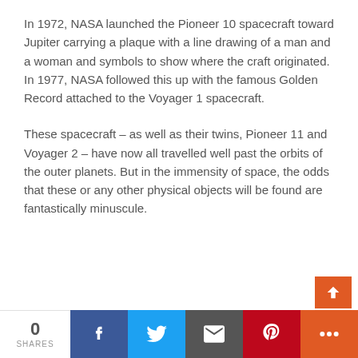In 1972, NASA launched the Pioneer 10 spacecraft toward Jupiter carrying a plaque with a line drawing of a man and a woman and symbols to show where the craft originated. In 1977, NASA followed this up with the famous Golden Record attached to the Voyager 1 spacecraft.
These spacecraft – as well as their twins, Pioneer 11 and Voyager 2 – have now all travelled well past the orbits of the outer planets. But in the immensity of space, the odds that these or any other physical objects will be found are fantastically minuscule.
0 SHARES | Facebook | Twitter | Email | Pinterest | +